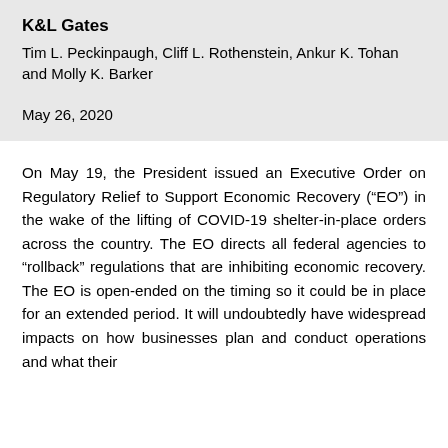K&L Gates
Tim L. Peckinpaugh, Cliff L. Rothenstein, Ankur K. Tohan and Molly K. Barker
May 26, 2020
On May 19, the President issued an Executive Order on Regulatory Relief to Support Economic Recovery (“EO”) in the wake of the lifting of COVID-19 shelter-in-place orders across the country. The EO directs all federal agencies to “rollback” regulations that are inhibiting economic recovery. The EO is open-ended on the timing so it could be in place for an extended period. It will undoubtedly have widespread impacts on how businesses plan and conduct operations and what their